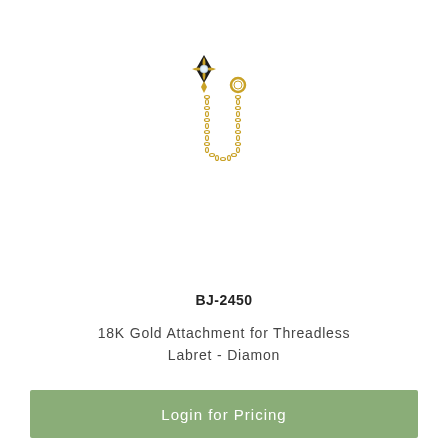[Figure (photo): 18K gold jewelry piece - a star/compass-shaped charm with a diamond center stone, attached to a gold chain that loops down and connects to a small gold ring. The charm has a black enamel background behind the star shape.]
BJ-2450
18K Gold Attachment for Threadless Labret - Diamon
Login for Pricing